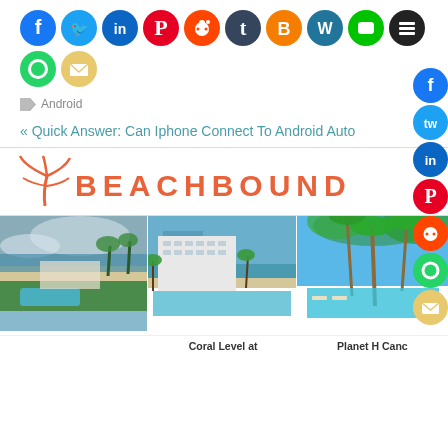[Figure (infographic): Social media share icons row 1: Facebook, Twitter, LinkedIn, Pinterest, Reddit, Tumblr, Blogger, WordPress, Line, Buffer]
[Figure (infographic): Social media share icons row 2: WhatsApp, Email]
Android
« Quick Answer: Can Iphone Connect To Android Auto
[Figure (logo): Beachbound logo with palm tree icon and orange text BEACHBOUND]
[Figure (photo): Aerial view of beach resort with pool and palm trees]
[Figure (photo): Aerial view of large hotel resort on beach with pool]
[Figure (photo): Tropical resort with palm trees]
Coral Level at
Planet H Canc
[Figure (infographic): Side social share buttons: Facebook, Twitter, LinkedIn, Pinterest, Reddit, WhatsApp, Email]